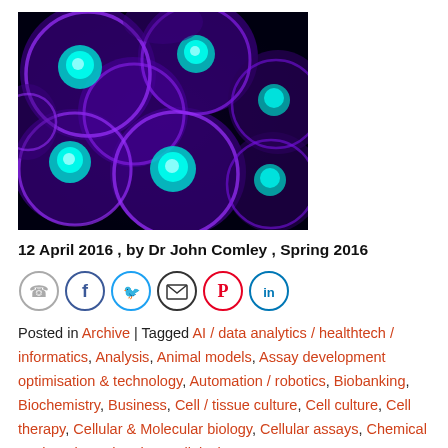[Figure (photo): Microscopy image of glowing purple and cyan spherical cells on dark background]
12 April 2016 , by Dr John Comley , Spring 2016
[Figure (infographic): Social sharing icons: WhatsApp, Facebook, Twitter, Email, Pinterest, LinkedIn]
Posted in Archive | Tagged AI / data analytics / healthtech / informatics, Analysis, Animal models, Assay development optimisation & technology, Automation / robotics, Biobanking, Biochemistry, Business, Cell / tissue culture, Cell culture, Cell therapy, Cellular & Molecular biology, Cellular assays, Chemical engineering, Chemistry, Clinical